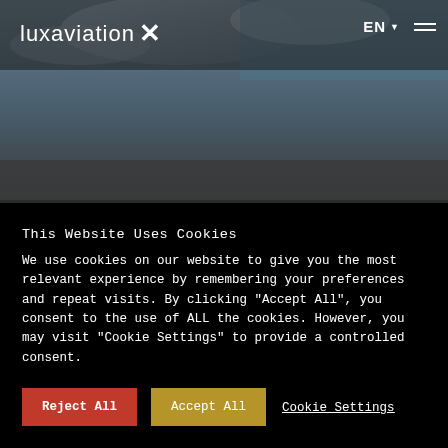[Figure (photo): Aerial/sky background hero image with clouds and blue sky, dark overlay. Navigation bar with luxaviation X logo, EN language selector, and hamburger menu on top.]
luxaviation X  |  EN  ☰
This Website Uses Cookies
We use cookies on our website to give you the most relevant experience by remembering your preferences and repeat visits. By clicking "Accept All", you consent to the use of ALL the cookies. However, you may visit "Cookie Settings" to provide a controlled consent.
Reject All
Accept All
Cookie Settings